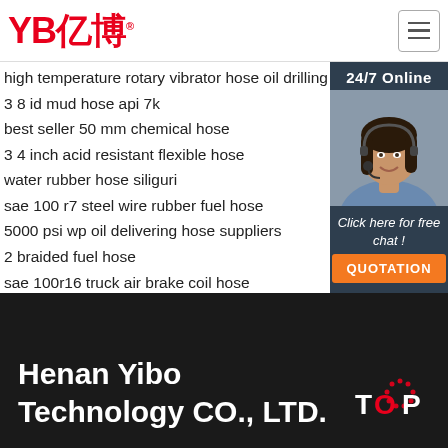YB亿博 [logo] | hamburger menu
high temperature rotary vibrator hose oil drilling
3 8 id mud hose api 7k
best seller 50 mm chemical hose
3 4 inch acid resistant flexible hose
water rubber hose siliguri
sae 100 r7 steel wire rubber fuel hose
5000 psi wp oil delivering hose suppliers
2 braided fuel hose
sae 100r16 truck air brake coil hose
sae j517 100rat hose squeeze peristaltic pump
rubber hose cement feeding vancouver washin
new types rubber hose pipe
[Figure (photo): Customer service representative woman with headset, smiling. Side panel with '24/7 Online', 'Click here for free chat!', and orange QUOTATION button.]
Henan Yibo Technology CO., LTD.